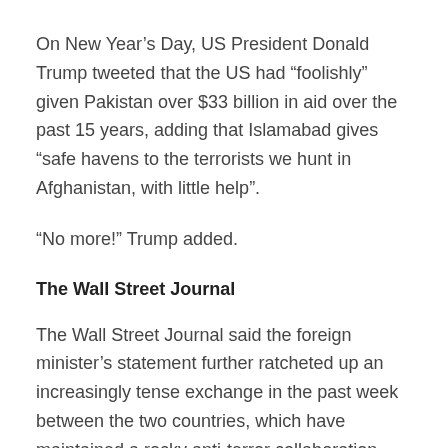On New Year’s Day, US President Donald Trump tweeted that the US had “foolishly” given Pakistan over $33 billion in aid over the past 15 years, adding that Islamabad gives “safe havens to the terrorists we hunt in Afghanistan, with little help”.
“No more!” Trump added.
The Wall Street Journal
The Wall Street Journal said the foreign minister’s statement further ratcheted up an increasingly tense exchange in the past week between the two countries, which have maintained a rocky anti-terror collaboration since the Sept. 11, 2001, attacks. “Those ties